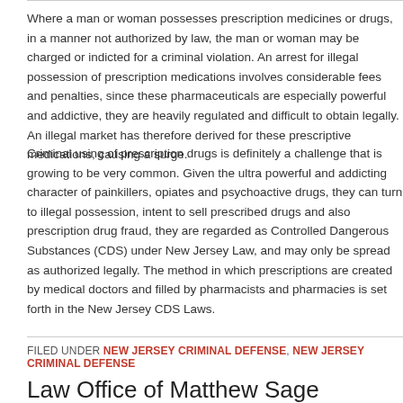Where a man or woman possesses prescription medicines or drugs, in a manner not authorized by law, the man or woman may be charged or indicted for a criminal violation. An arrest for illegal possession of prescription medications involves considerable fees and penalties, since these pharmaceuticals are especially powerful and addictive, they are heavily regulated and difficult to obtain legally. An illegal market has therefore derived for these prescriptive medications, causing a surge.
Criminal using of prescription drugs is definitely a challenge that is growing to be very common. Given the ultra powerful and addicting character of painkillers, opiates and psychoactive drugs, they can turn to illegal possession, intent to sell prescribed drugs and also prescription drug fraud, they are regarded as Controlled Dangerous Substances (CDS) under New Jersey Law, and may only be spread as authorized legally. The method in which prescriptions are created by medical doctors and filled by pharmacists and pharmacies is set forth in the New Jersey CDS Laws.
FILED UNDER NEW JERSEY CRIMINAL DEFENSE, NEW JERSEY CRIMINAL DEFENSE
Law Office of Matthew Sage Announces New Website
APRIL 5, 2010 BY JBERMAN • LEAVE A COMMENT
We are proud to announce the launch of our new website. We welcome your feedback. We have a nice set of resources to help individuals in need of a New Jersey criminal defense